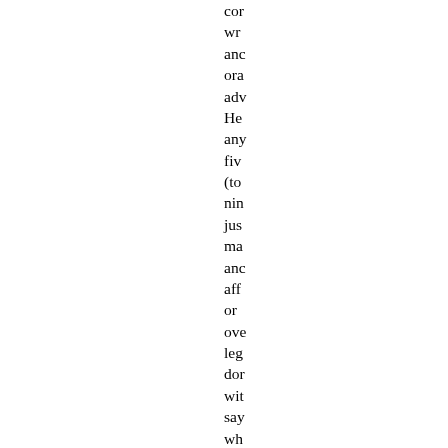cor
wr
anc
ora
adv
He
any
fiv
(to
nin
jus
ma
anc
aff
or
ove
leg
dor
wit
say
wh
Th
is,
the